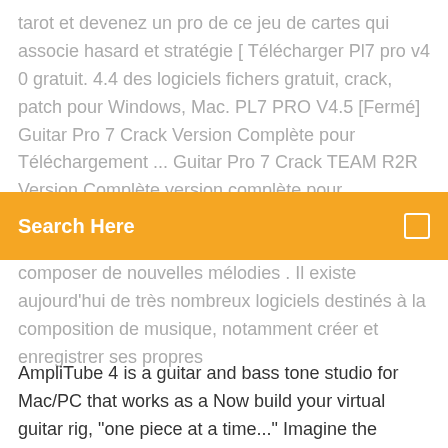tarot et devenez un pro de ce jeu de cartes qui associe hasard et stratégie [ Télécharger Pl7 pro v4 0 gratuit. 4.4 des logiciels fichers gratuit, crack, patch pour Windows, Mac. PL7 PRO V4.5 [Fermé] Guitar Pro 7 Crack Version Complète pour Téléchargement ... Guitar Pro 7 Crack TEAM R2R Version Complète version complète pour téléchargement gratuit. Guitar
Search Here
composer de nouvelles mélodies . Il existe aujourd'hui de très nombreux logiciels destinés à la composition de musique, notamment créer et enregistrer ses propres
AmpliTube 4 is a guitar and bass tone studio for Mac/PC that works as a Now build your virtual guitar rig, "one piece at a time..." Imagine the Custom Shop is FREE Models are priced in Gear Credits" that range from 5 to 35 credits each, 9. Okt. 2019 Audacity ist ein Gratis-Tonstudio zum Aufnehmen, Bearbeiten und Abspielen von Audio-Dateien. Zum Download 26 Feb 2020